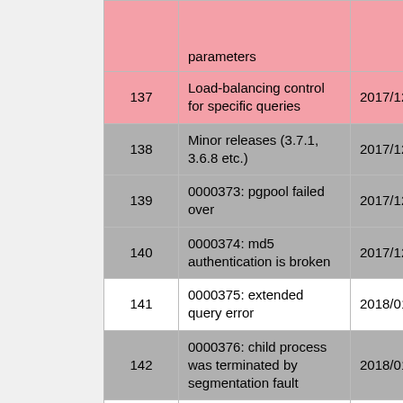| # | Description | Date |
| --- | --- | --- |
|  | parameters |  |
| 137 | Load-balancing control for specific queries | 2017/12/15 |
| 138 | Minor releases (3.7.1, 3.6.8 etc.) | 2017/12/15 |
| 139 | 0000373: pgpool failed over | 2017/12/21 |
| 140 | 0000374: md5 authentication is broken | 2017/12/23 |
| 141 | 0000375: extended query error | 2018/01/08 |
| 142 | 0000376: child process was terminated by segmentation fault | 2018/01/12 |
| 143 | [pgpool-general: 5863] pgpool frequnet authentication timeout | 2018/01/19 |